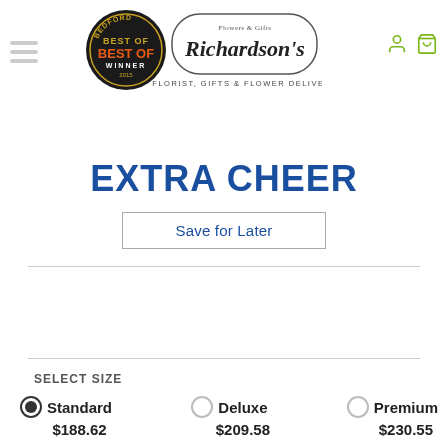Richardson's Flowers & Gifts - FLORIST, GIFTS & FLOWER DELIVERY
EXTRA CHEER
Save for Later
SELECT SIZE
Standard $188.62  |  Deluxe $209.58  |  Premium $230.55